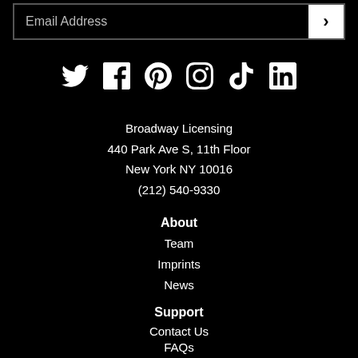Email Address
[Figure (infographic): Social media icons: Twitter, Facebook, Pinterest, Instagram, TikTok, LinkedIn]
Broadway Licensing
440 Park Ave S, 11th Floor
New York NY 10016
(212) 540-9330
About
Team
Imprints
News
Support
Contact Us
FAQs
Terms & Conditions